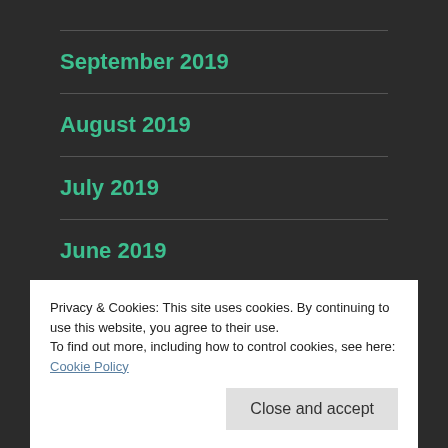September 2019
August 2019
July 2019
June 2019
May 2019
Privacy & Cookies: This site uses cookies. By continuing to use this website, you agree to their use.
To find out more, including how to control cookies, see here: Cookie Policy
Close and accept
February 2019